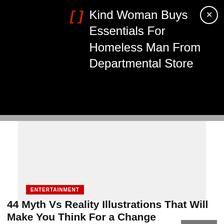[Figure (screenshot): Black notification bar with quote bracket icon in red, white text reading 'Kind Woman Buys Essentials For Homeless Man From Departmental Store', and a circular X close button]
[Figure (photo): Light gray image placeholder area for article header image]
ENTERTAINMENT
44 Myth Vs Reality Illustrations That Will Make You Think For a Change
BY SARAH
My life
[Figure (screenshot): Ad banner: KISS BORING LIPS GOODBYE with a model photo, SHOP NOW button and Macy's star logo on red background]